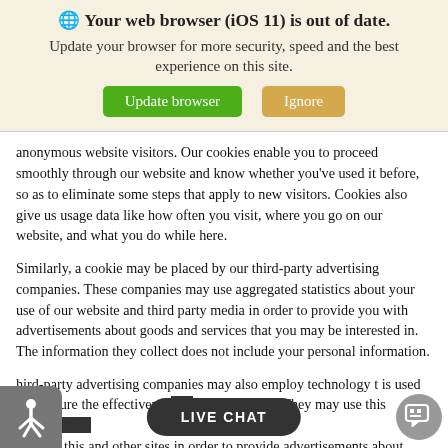🌐 Your web browser (iOS 11) is out of date. Update your browser for more security, speed and the best experience on this site.
[Figure (other): Update browser (green button) and Ignore (tan button)]
anonymous website visitors. Our cookies enable you to proceed smoothly through our website and know whether you've used it before, so as to eliminate some steps that apply to new visitors. Cookies also give us usage data like how often you visit, where you go on our website, and what you do while here.
Similarly, a cookie may be placed by our third-party advertising companies. These companies may use aggregated statistics about your use of our website and third party media in order to provide you with advertisements about goods and services that you may be interested in. The information they collect does not include your personal information.
hird-party advertising companies may also employ technology t is used to measure the effectivenes orm is anonymous. They may use this anonym out y visits to this and other sites in order to provide advertisements about